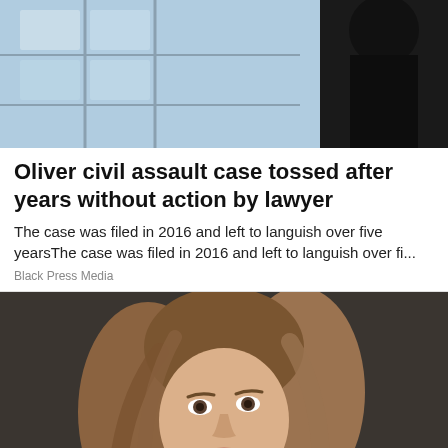[Figure (photo): Partial photo of a person in dark clothing near a building with glass/metal structure, cropped at top]
Oliver civil assault case tossed after years without action by lawyer
The case was filed in 2016 and left to languish over five yearsThe case was filed in 2016 and left to languish over fi...
Black Press Media
[Figure (photo): Portrait photo of a young woman with long wavy brown/blonde hair, smiling, dark background]